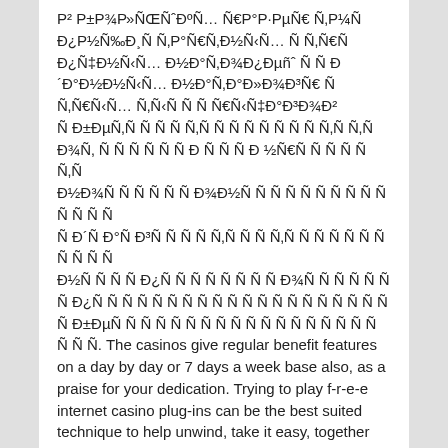Р² Р±Р¾Р»ÑŒÑˆÐ¸Ñ… Ñ€Р°Р·РµÑ€ Ñ Ð ŠÑ‚Ñ Ð¾Ñ†Ð¸Ð¾Ð½Ð°Ð»ÑŒÐ½Ñ‹Ñ… Ð ½Ð°Ð¿Ñ€Ð°Ð²Ð»ÐµÐ½Ð¸Ñ Ð¾Ñ„Ñ€Ð¸Ñ†Ð¸Ð°Ð»ÑŒÐ½Ñ‹Ñ… Ð½Ð¾Ð²Ð¸Ð½Ð¾Ðº Ñ Ñ Ñ‡Ðµñ‚Ð¾Ð¼ Ñ¡Ñ ÑÑ‚Ñ Ñ Ñ‚Ð¾Ñ‡Ð½Ñ‹Ñ… Ð´Ð°Ñ‚ Ð±ÐµÐ·Ð¾Ð¿Ð°Ñ Ð½Ð¾ Ð´Ð»Ñ Ñ†Ðµñ‚ÑÐ½ÑˆÐ¸Ñ… Ñ Ñ Ñ Ñ Ñ€Ñ‹Ñ‡Ð°Ð³Ð¾Ð² Ñ Ð±Ðµð½ÐµÑ„Ð¸Ñ†Ð¸Ð¸Ñ€Ñ‚ÑŒ Ñ Ð²Ñ‹Ð³Ð¾Ð´Ð°Ð¼Ð¸. The casinos give regular benefit features on a day by day or 7 days a week base also, as a praise for your dedication. Trying to play f-r-e-e internet casino plug-ins can be the best suited technique to help unwind, take it easy, together with easily get pleasure from your beloved f-r-e-e plug-ins adventures on the net like fun – without becoming ensnared approach around pursuing is.
Some lovers may possibly benefit specific internet casino bridal party up to $100,000, which are typically traded on online public auction sites just like eBay Various casinos market listing models of snacks and